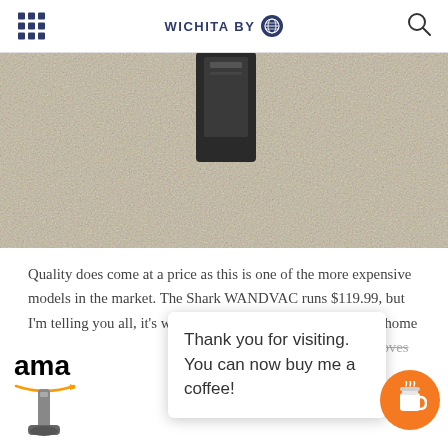WICHITA BY
[Figure (photo): Close-up photo of a shaggy carpet with a vacuum cleaner nozzle visible in the upper center portion of the image.]
Quality does come at a price as this is one of the more expensive models in the market. The Shark WANDVAC runs $119.99, but I'm telling you all, it's worth it. It's been a lifesaver for us at home so many times with not just the little one, but our dog w...
[Figure (logo): Amazon logo with partial text 'ama' visible and orange arrow beneath.]
Thank you for visiting. You can now buy me a coffee!
[Figure (photo): Partial image of a Shark vacuum cleaner at the bottom left of the page.]